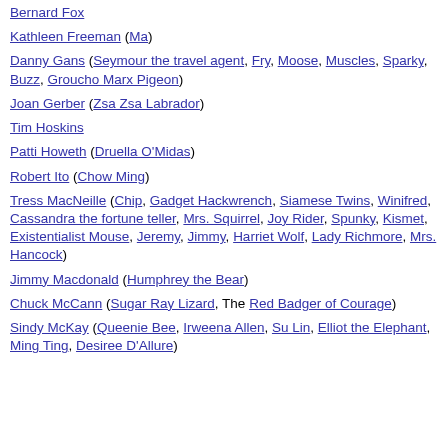Bernard Fox
Kathleen Freeman (Ma)
Danny Gans (Seymour the travel agent, Fry, Moose, Muscles, Sparky, Buzz, Groucho Marx Pigeon)
Joan Gerber (Zsa Zsa Labrador)
Tim Hoskins
Patti Howeth (Druella O'Midas)
Robert Ito (Chow Ming)
Tress MacNeille (Chip, Gadget Hackwrench, Siamese Twins, Winifred, Cassandra the fortune teller, Mrs. Squirrel, Joy Rider, Spunky, Kismet, Existentialist Mouse, Jeremy, Jimmy, Harriet Wolf, Lady Richmore, Mrs. Hancock)
Jimmy Macdonald (Humphrey the Bear)
Chuck McCann (Sugar Ray Lizard, The Red Badger of Courage)
Sindy McKay (Queenie Bee, Irweena Allen, Su Lin, Elliot the Elephant, Ming Ting, Desiree D'Allure)